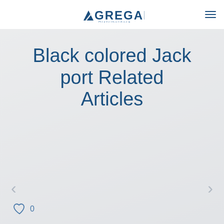AGREGAR Distribuidora
Black colored Jack port Related Articles
< >
0